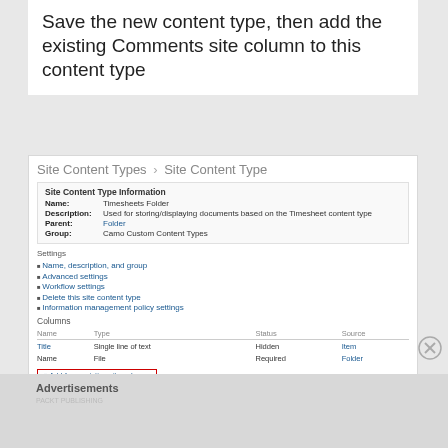Save the new content type, then add the existing Comments site column to this content type
[Figure (screenshot): SharePoint Site Content Types › Site Content Type page showing 'Timesheets Folder' content type information, settings links, and columns table with Title and Name entries. An 'Add from existing site columns' link is highlighted with a red border.]
Advertisements
PACKT PUBLISHING